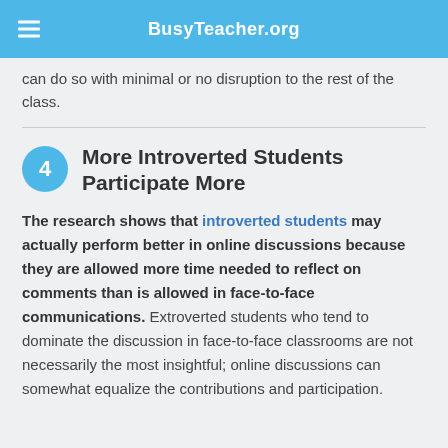BusyTeacher.org
can do so with minimal or no disruption to the rest of the class.
4 More Introverted Students Participate More
The research shows that introverted students may actually perform better in online discussions because they are allowed more time needed to reflect on comments than is allowed in face-to-face communications. Extroverted students who tend to dominate the discussion in face-to-face classrooms are not necessarily the most insightful; online discussions can somewhat equalize the contributions and participation.